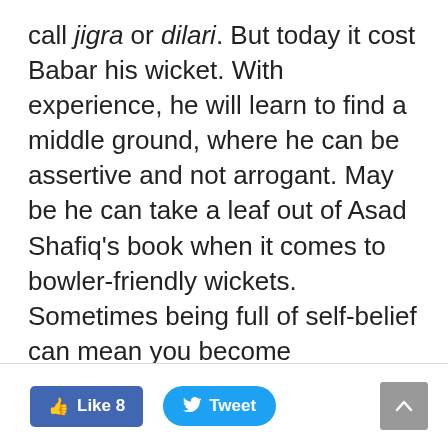call jigra or dilari. But today it cost Babar his wicket. With experience, he will learn to find a middle ground, where he can be assertive and not arrogant. May be he can take a leaf out of Asad Shafiq's book when it comes to bowler-friendly wickets. Sometimes being full of self-belief can mean you become overconfident.
Like 8  Tweet